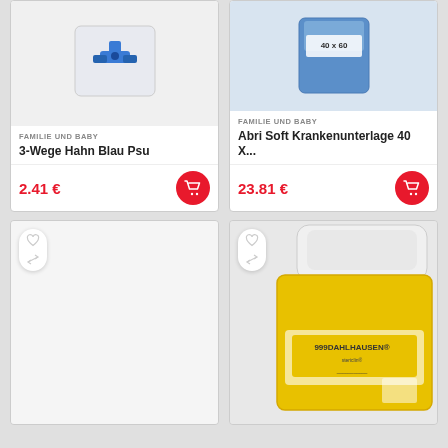[Figure (photo): Product photo of 3-Wege Hahn Blau Psu, showing a blue valve/tap in plastic packaging]
FAMILIE UND BABY
3-Wege Hahn Blau Psu
2.41 €
[Figure (photo): Product photo of Abri Soft Krankenunterlage 40 X..., showing a blue container labeled 40 x 60]
FAMILIE UND BABY
Abri Soft Krankenunterlage 40 X...
23.81 €
[Figure (photo): Bottom left product card with wishlist and compare icons, no product image visible]
[Figure (photo): Bottom right product card showing a yellow Dahlhausen sharps container/disposal box]